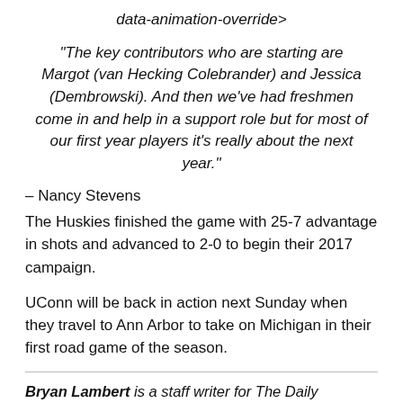data-animation-override>
“The key contributors who are starting are Margot (van Hecking Colebrander) and Jessica (Dembrowski). And then we’ve had freshmen come in and help in a support role but for most of our first year players it’s really about the next year.”
– Nancy Stevens
The Huskies finished the game with 25-7 advantage in shots and advanced to 2-0 to begin their 2017 campaign.
UConn will be back in action next Sunday when they travel to Ann Arbor to take on Michigan in their first road game of the season.
Bryan Lambert is a staff writer for The Daily Campus. He can be reached via email at BryanLambert@uconn.edu